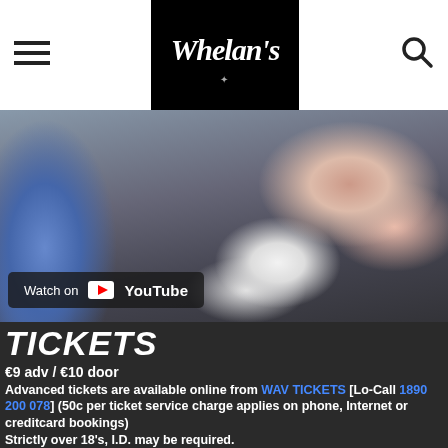Whelan's [logo]
[Figure (photo): Blurry photo of feet/shoes on a dark floor, with blue fabric on the left and white/pink shoes on the right. A YouTube 'Watch on YouTube' overlay appears at the bottom left of the image.]
TICKETS
€9 adv / €10 door
Advanced tickets are available online from WAV TICKETS [Lo-Call 1890 200 078] (50c per ticket service charge applies on phone, Internet or creditcard bookings)
Strictly over 18's, I.D. may be required.
AFTER THE GIG
Whelan's Indie Club, /// TERRA /// [Live Bands and guest ...